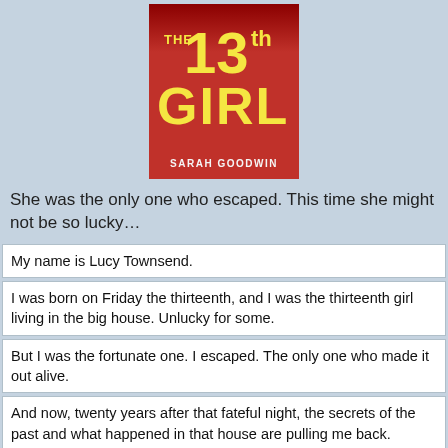[Figure (illustration): Book cover for 'The 13th Girl' by Sarah Goodwin. Red background with large yellow text. Title reads 'THE 13th GIRL' and author name 'SARAH GOODWIN' at the bottom.]
She was the only one who escaped. This time she might not be so lucky…
My name is Lucy Townsend.
I was born on Friday the thirteenth, and I was the thirteenth girl living in the big house. Unlucky for some.
But I was the fortunate one. I escaped. The only one who made it out alive.
And now, twenty years after that fateful night, the secrets of the past and what happened in that house are pulling me back.
I might not be so lucky this time…
Hayes, Samantha - The Ex-Husband